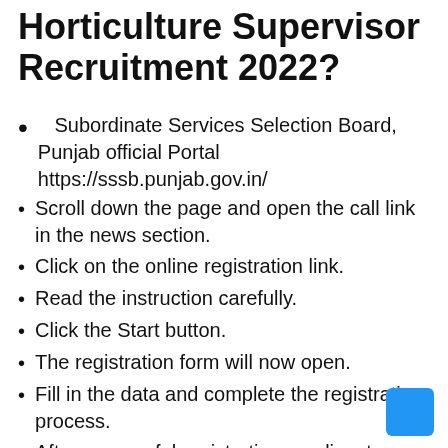Horticulture Supervisor Recruitment 2022?
Subordinate Services Selection Board, Punjab official Portal https://sssb.punjab.gov.in/
Scroll down the page and open the call link in the news section.
Click on the online registration link.
Read the instruction carefully.
Click the Start button.
The registration form will now open.
Fill in the data and complete the registration process.
After successful registration, applicants receive a login ID and password.
The application form will open.
Fill in all the details carefully.
Upload the required documents like the format